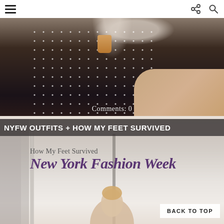Navigation bar with hamburger menu, share icon, and search icon
[Figure (photo): Fashion photo showing a woman's torso wearing a black polka-dot skirt, holding a coffee cup, with her hand resting on a railing. Urban background.]
Comments: 0
NYFW OUTFITS + HOW MY FEET SURVIVED
[Figure (photo): Blog post thumbnail image with text overlay reading 'How My Feet Survived New York Fashion Week' in purple script font. Shows a woman in a bright indoor setting.]
BACK TO TOP